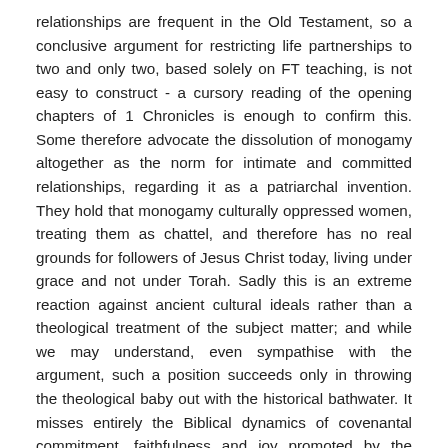relationships are frequent in the Old Testament, so a conclusive argument for restricting life partnerships to two and only two, based solely on FT teaching, is not easy to construct - a cursory reading of the opening chapters of 1 Chronicles is enough to confirm this. Some therefore advocate the dissolution of monogamy altogether as the norm for intimate and committed relationships, regarding it as a patriarchal invention. They hold that monogamy culturally oppressed women, treating them as chattel, and therefore has no real grounds for followers of Jesus Christ today, living under grace and not under Torah. Sadly this is an extreme reaction against ancient cultural ideals rather than a theological treatment of the subject matter; and while we may understand, even sympathise with the argument, such a position succeeds only in throwing the theological baby out with the historical bathwater. It misses entirely the Biblical dynamics of covenantal commitment, faithfulness and joy promoted by the OldTestament concerning marriage, reflecting faithfulness to God, and